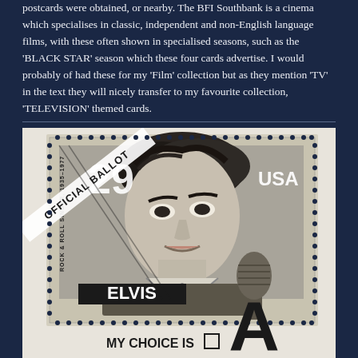postcards were obtained, or nearby. The BFI Southbank is a cinema which specialises in classic, independent and non-English language films, with these often shown in specialised seasons, such as the 'BLACK STAR' season which these four cards advertise. I would probably of had these for my 'Film' collection but as they mention 'TV' in the text they will nicely transfer to my favourite collection, 'TELEVISION' themed cards.
[Figure (photo): Black and white image of an Elvis Presley US postage stamp (29 cents, USA) showing Elvis as a young rock and roll singer with a microphone, labeled 'ROCK & ROLL SINGER, 1935-1977'. The stamp has an 'OFFICIAL BALLOT' diagonal banner. Below the stamp is text 'MY CHOICE IS' with a checkbox, and a large letter 'A'.]